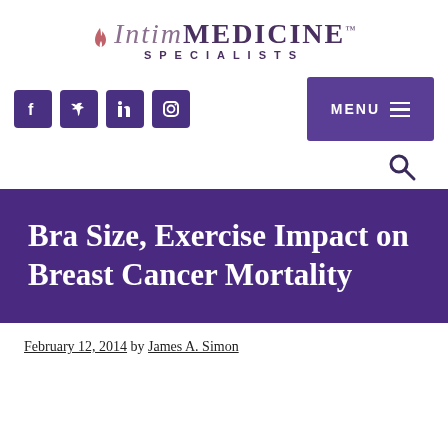[Figure (logo): IntimMedicine Specialists logo with flame icon above stylized text]
[Figure (infographic): Navigation bar with social media icons (Facebook, Twitter, LinkedIn, Instagram) and a purple MENU button with hamburger icon]
[Figure (infographic): Search icon (magnifying glass) aligned to the right]
Bra Size, Exercise Impact on Breast Cancer Mortality
February 12, 2014 by James A. Simon